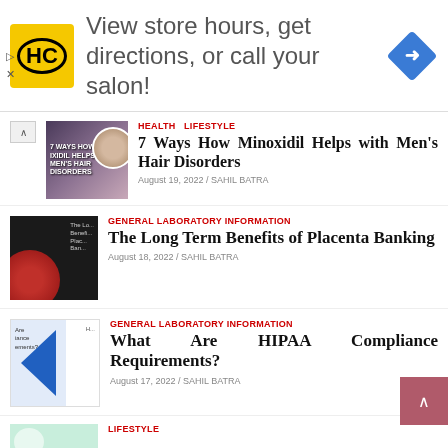[Figure (screenshot): Advertisement banner: HC (Hair Club) logo in yellow square, text 'View store hours, get directions, or call your salon!', blue diamond arrow navigation icon on the right]
HEALTH  LIFESTYLE
7 Ways How Minoxidil Helps with Men's Hair Disorders
August 19, 2022 / SAHIL BATRA
GENERAL LABORATORY INFORMATION
The Long Term Benefits of Placenta Banking
August 18, 2022 / SAHIL BATRA
GENERAL LABORATORY INFORMATION
What Are HIPAA Compliance Requirements?
August 17, 2022 / SAHIL BATRA
LIFESTYLE